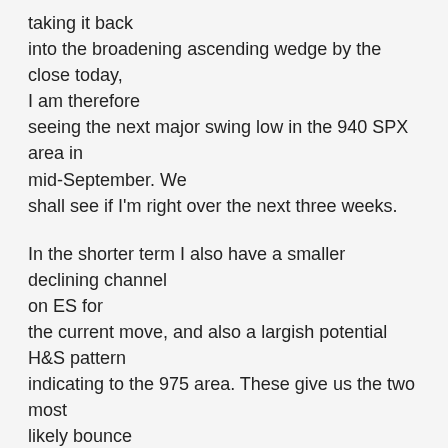taking it back into the broadening ascending wedge by the close today, I am therefore seeing the next major swing low in the 940 SPX area in mid-September. We shall see if I'm right over the next three weeks.
In the shorter term I also have a smaller declining channel on ES for the current move, and also a largish potential H&S pattern indicating to the 975 area. These give us the two most likely bounce levels for the immediate move down, and they are the 1050 ES area to finish the head on the potential H&S pattern, and the powerful support level at 1037 ES, which would be the declining channel target